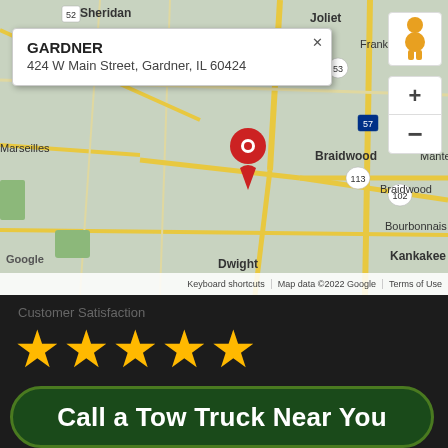[Figure (map): Google Maps screenshot showing Gardner, IL area with a pin at 424 W Main Street, Gardner, IL 60424. A callout popup reads GARDNER / 424 W Main Street, Gardner, IL 60424. Map shows surrounding towns including Joliet, Frankfort, Braidwood, Manteno, Bourbonnais, Kankakee, Dwight, Marseilles, Sheridan. Pegman icon and zoom controls visible. Google watermark and map data attribution at bottom.]
Customer Satisfaction
[Figure (infographic): Five gold star rating icons representing customer satisfaction]
Call a Tow Truck Near You